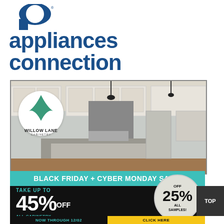[Figure (logo): Appliances Connection logo with large blue 'a' icon and bold blue text 'appliances connection']
[Figure (photo): Kitchen interior photo with white cabinetry, island, pendant lights, and Willow Lane Cabinetry circular badge]
BLACK FRIDAY + CYBER MONDAY SALE!
TAKE UP TO 45% OFF ALL CABINETRY
OFF 25% ALL SAMPLES!
NOW THROUGH 12/02
CLICK HERE